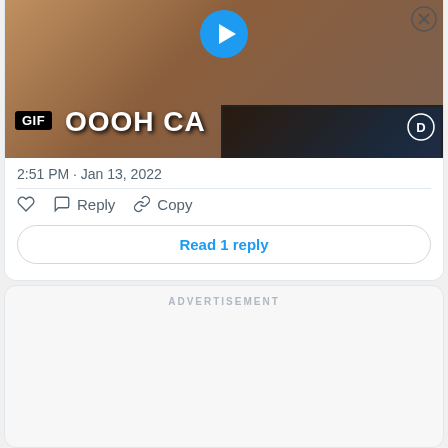[Figure (screenshot): Tweet card showing a GIF thumbnail with 'OOOH CA' text visible, a play button at top, GIF label, timestamp '2:51 PM · Jan 13, 2022', action buttons (like, reply, copy), and a 'Read 1 reply' button. An overlay popup video with 'THE UNSTOPPABLE FORCE' text is visible.]
2:51 PM · Jan 13, 2022
Reply   Copy
Read 1 reply
ADVERTISEMENT